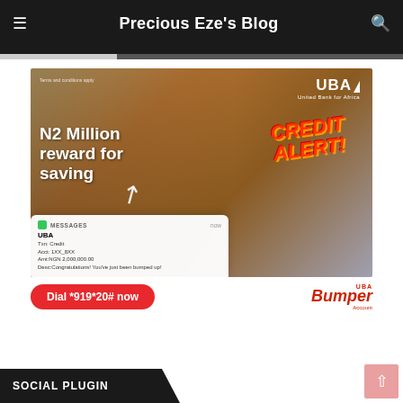Precious Eze's Blog
[Figure (photo): UBA Bumper Account advertisement showing a smiling woman lying on a couch with a phone, text 'N2 Million reward for saving', 'CREDIT ALERT!', a mock SMS notification from UBA showing NGN 2,000,000.00 credit, a 'Dial *919*20# now' red button, and the UBA Bumper Account logo.]
SOCIAL PLUGIN